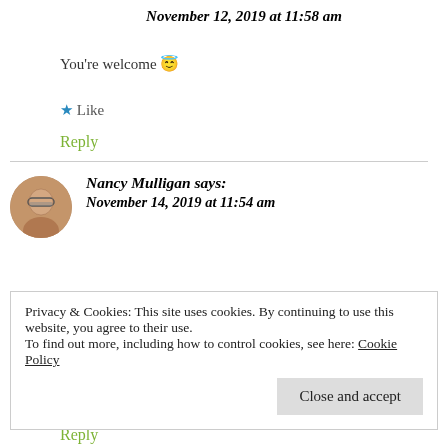November 12, 2019 at 11:58 am
You're welcome 😇
★ Like
Reply
Nancy Mulligan says:
November 14, 2019 at 11:54 am
Privacy & Cookies: This site uses cookies. By continuing to use this website, you agree to their use.
To find out more, including how to control cookies, see here: Cookie Policy
Close and accept
Reply